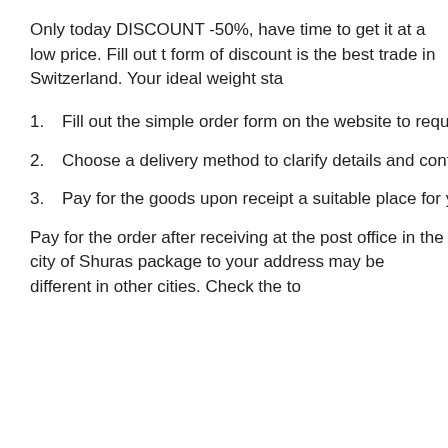Only today DISCOUNT -50%, have time to get it at a low price. Fill out the form of discount is the best trade in Switzerland. Your ideal weight sta…
Fill out the simple order form on the website to request a recall.
Choose a delivery method to clarify details and confirm your tea o…
Pay for the goods upon receipt a suitable place for you in Shura's…
Pay for the order after receiving at the post office in the city of Shuras… package to your address may be different in other cities. Check the to…